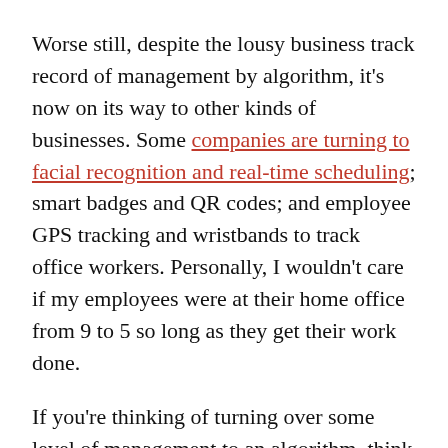Worse still, despite the lousy business track record of management by algorithm, it's now on its way to other kinds of businesses. Some companies are turning to facial recognition and real-time scheduling; smart badges and QR codes; and employee GPS tracking and wristbands to track office workers. Personally, I wouldn't care if my employees were at their home office from 9 to 5 so long as they get their work done.
If you're thinking of turning over some level of management to an algorithm, think twice. Instead of digital efficiency, you'll end up alienating staffers. And, with workers deserting